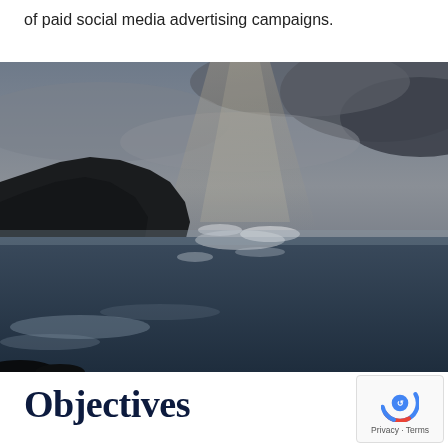of paid social media advertising campaigns.
[Figure (photo): Dramatic coastal seascape photograph showing rocky cliffs on the left, large ocean waves crashing against the coast, with moody cloudy sky and light rays breaking through. Dark bluish-grey tones throughout.]
Objectives